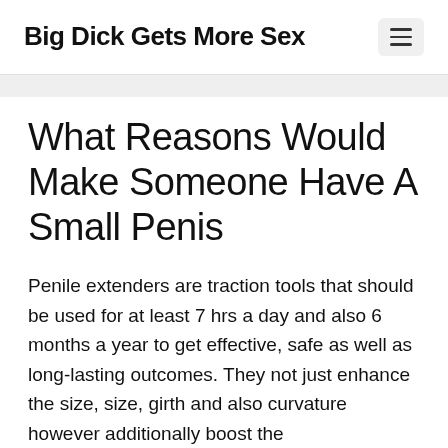Big Dick Gets More Sex
What Reasons Would Make Someone Have A Small Penis
Penile extenders are traction tools that should be used for at least 7 hrs a day and also 6 months a year to get effective, safe as well as long-lasting outcomes. They not just enhance the size, size, girth and also curvature however additionally boost the